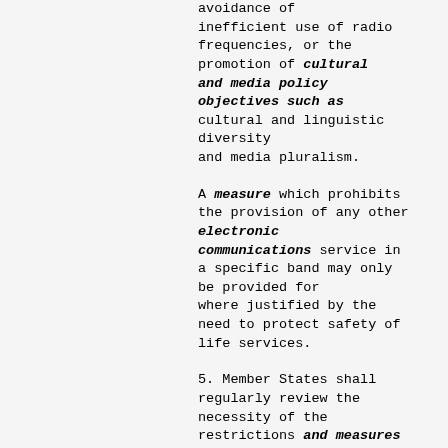avoidance of inefficient use of radio frequencies, or the promotion of cultural and media policy objectives such as cultural and linguistic diversity and media pluralism.
A measure which prohibits the provision of any other electronic communications service in a specific band may only be provided for where justified by the need to protect safety of life services.
5. Member States shall regularly review the necessity of the restrictions and measures referred to in paragraphs 3 and 4 and shall make the results of these reviews public.
6. Paragraphs 3 and 4 shall apply to the allocation and assignment